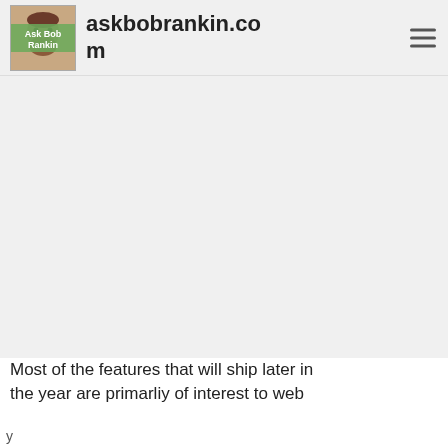askbobrankin.com
[Figure (screenshot): Large grey/light area representing an image or advertisement placeholder in the middle of the page]
Most of the features that will ship later in the year are primarliy of interest to web